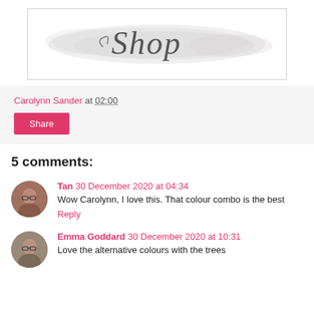[Figure (illustration): Shop banner with watercolor wash background and cursive 'Shop' text in dark gray]
Carolynn Sander at 02:00
Share
5 comments:
Tan 30 December 2020 at 04:34
Wow Carolynn, I love this. That colour combo is the best
Reply
Emma Goddard 30 December 2020 at 10:31
Love the alternative colours with the trees